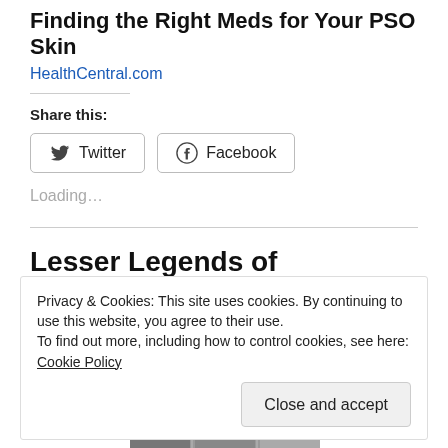Finding the Right Meds for Your PSO Skin
HealthCentral.com
Share this:
[Figure (screenshot): Twitter and Facebook share buttons]
Loading...
Lesser Legends of Waterfowling
Privacy & Cookies: This site uses cookies. By continuing to use this website, you agree to their use.
To find out more, including how to control cookies, see here: Cookie Policy
Close and accept
[Figure (photo): Black and white photograph strip at bottom of page]